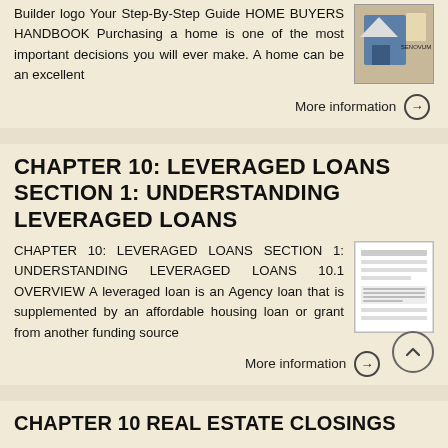Builder logo Your Step-By-Step Guide HOME BUYERS HANDBOOK Purchasing a home is one of the most important decisions you will ever make. A home can be an excellent
More information →
CHAPTER 10: LEVERAGED LOANS SECTION 1: UNDERSTANDING LEVERAGED LOANS
CHAPTER 10: LEVERAGED LOANS SECTION 1: UNDERSTANDING LEVERAGED LOANS 10.1 OVERVIEW A leveraged loan is an Agency loan that is supplemented by an affordable housing loan or grant from another funding source
More information →
CHAPTER 10 REAL ESTATE CLOSINGS